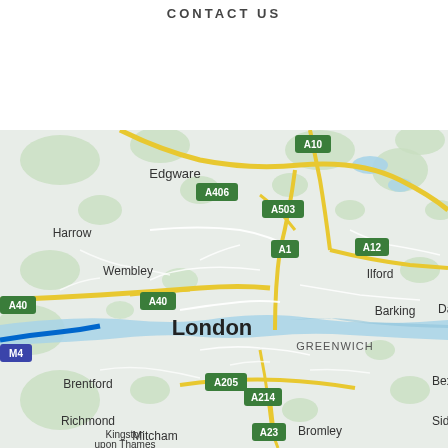CONTACT US
[Figure (map): Google Maps view of London and surrounding areas showing major road labels (A10, A406, A503, A12, A1, A40, A205, A214, A23, M4, A40) and place names (Edgware, Harrow, Wembley, London, Greenwich, Brentford, Richmond, Kingston upon Thames, Mitcham, Bromley, Ilford, Barking, Bexley, Sidcup). The map shows the typical Google Maps style with green parks, yellow/orange roads, blue water features.]